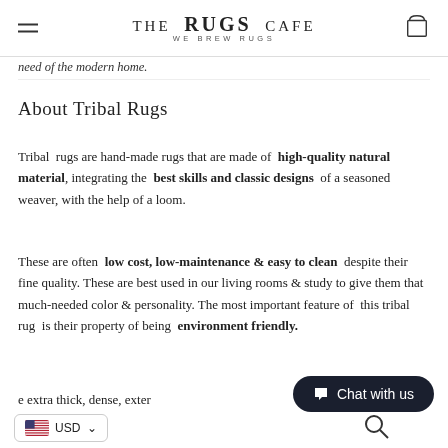THE RUGS CAFE — WE BREW RUGS
need of the modern home.
About Tribal Rugs
Tribal rugs are hand-made rugs that are made of high-quality natural material, integrating the best skills and classic designs of a seasoned weaver, with the help of a loom.
These are often low cost, low-maintenance & easy to clean despite their fine quality. These are best used in our living rooms & study to give them that much-needed color & personality. The most important feature of this tribal rug is their property of being environment friendly.
e extra thick, dense, exter...